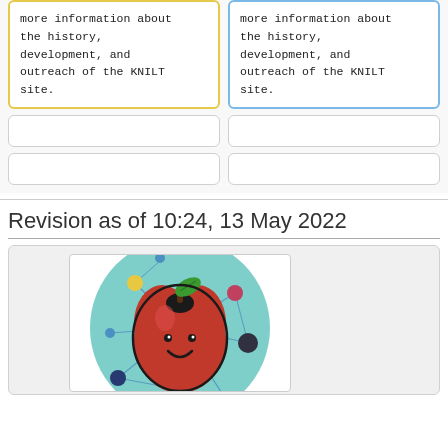more information about the history, development, and outreach of the KNILT site.
more information about the history, development, and outreach of the KNILT site.
Revision as of 10:24, 13 May 2022
[Figure (illustration): KNILT site logo: a cartoon red apple with a smiley face and a green leaf on a teal circular background with network/constellation nodes and lines connecting around it, inside a white rounded box on a light gray background panel.]